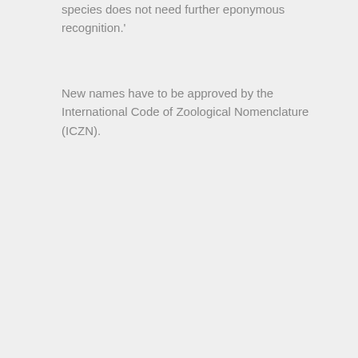species does not need further eponymous recognition.'
New names have to be approved by the International Code of Zoological Nomenclature (ICZN).